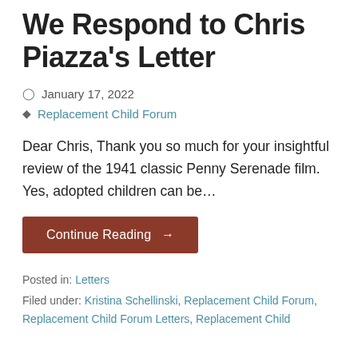We Respond to Chris Piazza's Letter
January 17, 2022
Replacement Child Forum
Dear Chris,  Thank you so much for your insightful review of the 1941 classic Penny Serenade film.  Yes, adopted children can be…
Continue Reading →
Posted in: Letters
Filed under: Kristina Schellinski, Replacement Child Forum, Replacement Child Forum Letters, Replacement Child